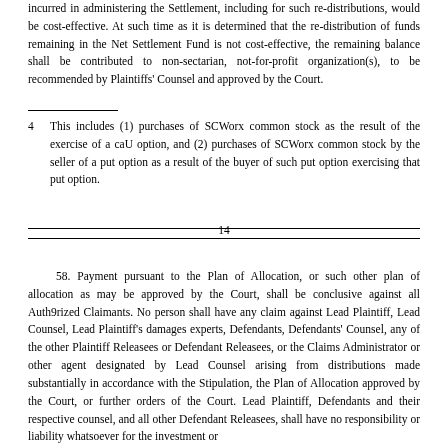incurred in administering the Settlement, including for such re-distributions, would be cost-effective. At such time as it is determined that the re-distribution of funds remaining in the Net Settlement Fund is not cost-effective, the remaining balance shall be contributed to non-sectarian, not-for-profit organization(s), to be recommended by Plaintiffs' Counsel and approved by the Court.
4   This includes (1) purchases of SCWorx common stock as the result of the exercise of a caU option, and (2) purchases of SCWorx common stock by the seller of a put option as a result of the buyer of such put option exercising that put option.
14
58. Payment pursuant to the Plan of Allocation, or such other plan of allocation as may be approved by the Court, shall be conclusive against all Auth9rized Claimants. No person shall have any claim against Lead Plaintiff, Lead Counsel, Lead Plaintiff's damages experts, Defendants, Defendants' Counsel, any of the other Plaintiff Releasees or Defendant Releasees, or the Claims Administrator or other agent designated by Lead Counsel arising from distributions made substantially in accordance with the Stipulation, the Plan of Allocation approved by the Court, or further orders of the Court. Lead Plaintiff, Defendants and their respective counsel, and all other Defendant Releasees, shall have no responsibility or liability whatsoever for the investment or